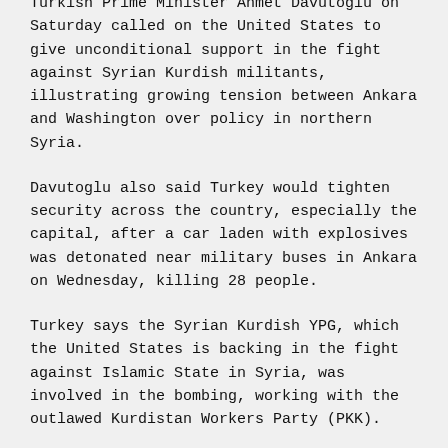Turkish Prime Minister Ahmet Davutoglu on Saturday called on the United States to give unconditional support in the fight against Syrian Kurdish militants, illustrating growing tension between Ankara and Washington over policy in northern Syria.
Davutoglu also said Turkey would tighten security across the country, especially the capital, after a car laden with explosives was detonated near military buses in Ankara on Wednesday, killing 28 people.
Turkey says the Syrian Kurdish YPG, which the United States is backing in the fight against Islamic State in Syria, was involved in the bombing, working with the outlawed Kurdistan Workers Party (PKK).